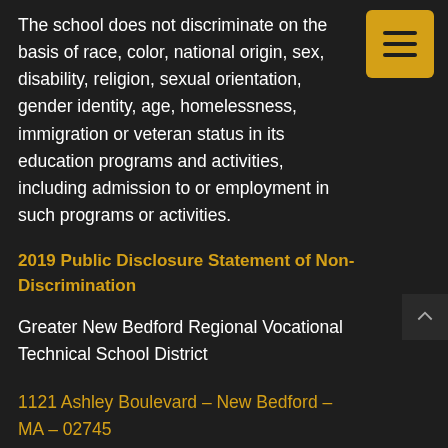The school does not discriminate on the basis of race, color, national origin, sex, disability, religion, sexual orientation, gender identity, age, homelessness, immigration or veteran status in its education programs and activities, including admission to or employment in such programs or activities.
2019 Public Disclosure Statement of Non-Discrimination
Greater New Bedford Regional Vocational Technical School District
1121 Ashley Boulevard – New Bedford – MA – 02745